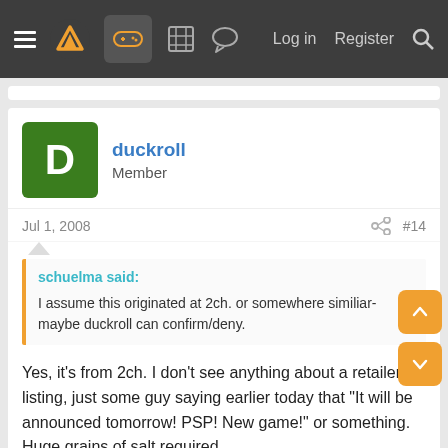Navigation bar with menu, logo, gamepad icon, forum icons, Log in, Register, Search
duckroll
Member
Jul 1, 2008
#14
schuelma said:
I assume this originated at 2ch. or somewhere similiar- maybe duckroll can confirm/deny.
Yes, it's from 2ch. I don't see anything about a retailer listing, just some guy saying earlier today that "It will be announced tomorrow! PSP! New game!" or something. Huge grains of salt required.